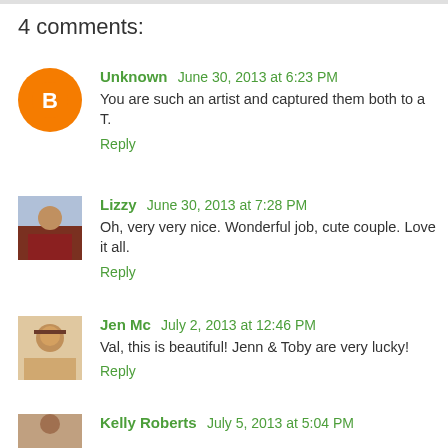4 comments:
Unknown  June 30, 2013 at 6:23 PM
You are such an artist and captured them both to a T.
Reply
Lizzy  June 30, 2013 at 7:28 PM
Oh, very very nice. Wonderful job, cute couple. Love it all.
Reply
Jen Mc  July 2, 2013 at 12:46 PM
Val, this is beautiful! Jenn & Toby are very lucky!
Reply
Kelly Roberts  July 5, 2013 at 5:04 PM